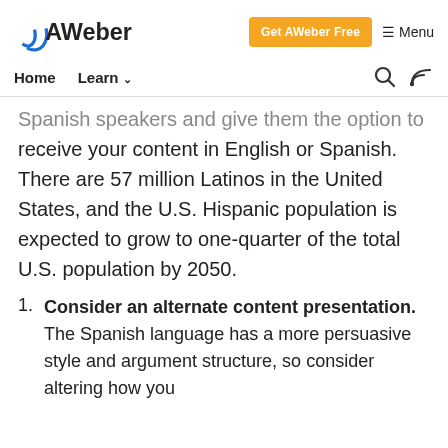AWeber — Get AWeber Free — Menu
Home  Learn ∨
Spanish speakers and give them the option to receive your content in English or Spanish. There are 57 million Latinos in the United States, and the U.S. Hispanic population is expected to grow to one-quarter of the total U.S. population by 2050.
Consider an alternate content presentation. The Spanish language has a more persuasive style and argument structure, so consider altering how you